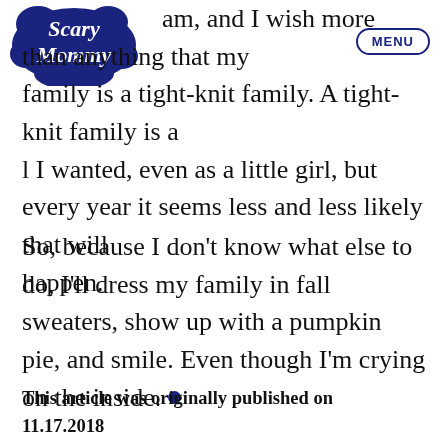Scary Mommy | MENU
am, and I wish more than anything that my family is a tight-knit family. A tight-knit family is all I wanted, even as a little girl, but every year it seems less and less likely that will happen.

So, because I don't know what else to do, I'll dress my family in fall sweaters, show up with a pumpkin pie, and smile. Even though I'm crying on the inside.
This article was originally published on 11.17.2018